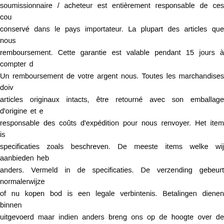soumissionnaire / acheteur est entièrement responsable de ces cou conservé dans le pays importateur. La plupart des articles que nous remboursement. Cette garantie est valable pendant 15 jours à compter d Un remboursement de votre argent nous. Toutes les marchandises doiv articles originaux intacts, être retourné avec son emballage d'origine et e responsable des coûts d'expédition pour nous renvoyer. Het item is specificaties zoals beschreven. De meeste items welke wij aanbieden heb anders. Vermeld in de specificaties. De verzending gebeurt normalerwijze of nu kopen bod is een legale verbintenis. Betalingen dienen binnen uitgevoerd maar indien anders breng ons op de hoogte over de voorzi worden goed verpakt. Alle verzendingsdocumenten worden doorg verzendkosten worden doorgegeven of zijn vermeld in de lijst. Alle verzending, goederen zullen niet worden toegestuurd indien niet alle g internationale kopers gelieve uw BTW nummer e. Internationale bestelling van taxen, douanekosten, belastingen en andere importkosten. De bied voor deze kosten, documenten e. Indien het object is weerhouden in h ander soort vrachtvervoer wenst gelieve ons daarvan op de hoogte te bre aanbieden zijn geld terug garantie. Deze garantie blijft geldig voor 15 goederen. ——————  ————  ——————————  ————.  This "Collectibles\Tobacciana\Cigars\Humidors\Antique & Vintage". The selle